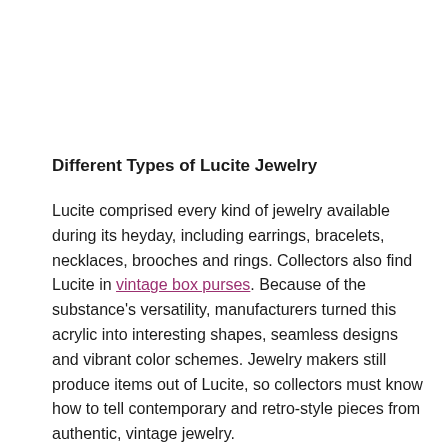Different Types of Lucite Jewelry
Lucite comprised every kind of jewelry available during its heyday, including earrings, bracelets, necklaces, brooches and rings. Collectors also find Lucite in vintage box purses. Because of the substance's versatility, manufacturers turned this acrylic into interesting shapes, seamless designs and vibrant color schemes. Jewelry makers still produce items out of Lucite, so collectors must know how to tell contemporary and retro-style pieces from authentic, vintage jewelry.